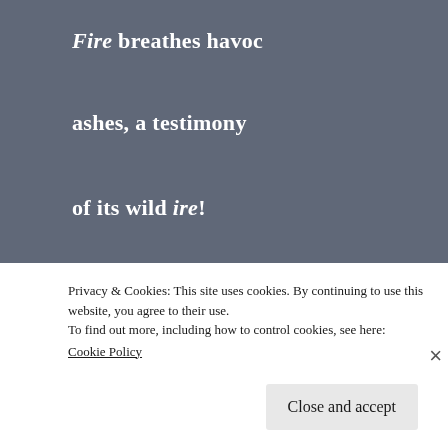Fire breathes havoc
ashes, a testimony
of its wild ire!
[Figure (illustration): A white raised fist icon on a dark navy/black background with subtle diagonal lines forming a diamond/envelope shape behind it.]
Privacy & Cookies: This site uses cookies. By continuing to use this website, you agree to their use.
To find out more, including how to control cookies, see here:
Cookie Policy
Close and accept